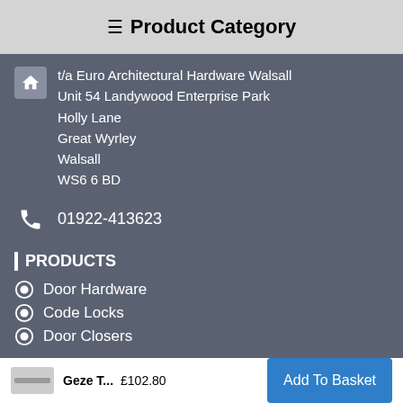≡ Product Category
t/a Euro Architectural Hardware Walsall
Unit 54 Landywood Enterprise Park
Holly Lane
Great Wyrley
Walsall
WS6 6 BD
01922-413623
| PRODUCTS
Door Hardware
Code Locks
Door Closers
Geze T... £102.80  Add To Basket